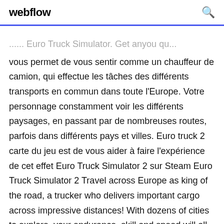webflow
... Euro Truck Simulator. Get anyou que vous permet de vous sentir comme un chauffeur de camion, qui effectue les tâches des différents transports en commun dans toute l'Europe. Votre personnage constamment voir les différents paysages, en passant par de nombreuses routes, parfois dans différents pays et villes. Euro truck 2 carte du jeu est de vous aider à faire l'expérience de cet effet Euro Truck Simulator 2 sur Steam Euro Truck Simulator 2 Travel across Europe as king of the road, a trucker who delivers important cargo across impressive distances! With dozens of cities to explore, your endurance, skill and speed will all be pushed to their limits. Euro